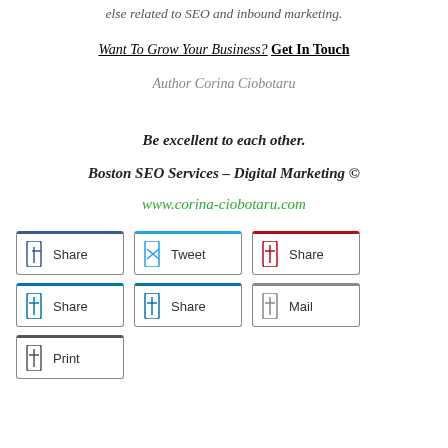else related to SEO and inbound marketing.
Want To Grow Your Business? Get In Touch
Author Corina Ciobotaru
Be excellent to each other.
Boston SEO Services – Digital Marketing ©
www.corina-ciobotaru.com
[Figure (other): Social sharing buttons: Share (Facebook), Tweet (Twitter), Share (Pinterest), Share (LinkedIn), Share (LinkedIn), Mail, Print]